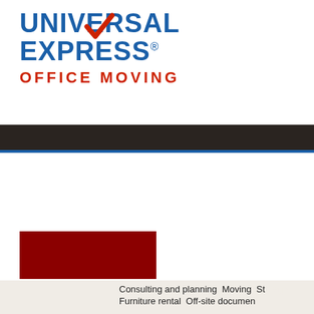[Figure (logo): Universal Express Office Moving logo with blue bold text UNIVERSAL EXPRESS and red OFFICE MOVING text, with a red checkmark over the V in UNIVERSAL]
Consulting and planning  Moving  St...
Furniture rental  Off-site documen...